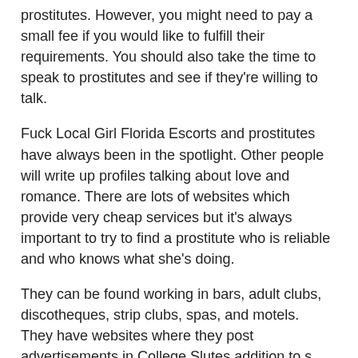prostitutes. However, you might need to pay a small fee if you would like to fulfill their requirements. You should also take the time to speak to prostitutes and see if they're willing to talk.
Fuck Local Girl Florida Escorts and prostitutes have always been in the spotlight. Other people will write up profiles talking about love and romance. There are lots of websites which provide very cheap services but it's always important to try to find a prostitute who is reliable and who knows what she's doing.
They can be found working in bars, adult clubs, discotheques, strip clubs, spas, and motels. They have websites where they post advertisements in College Slutes addition to s where they inform their clients about their availability. This is why Backpage Escorts Rendon TX can always earn more money.
As prostitution is legal, the issue of sex trafficking is